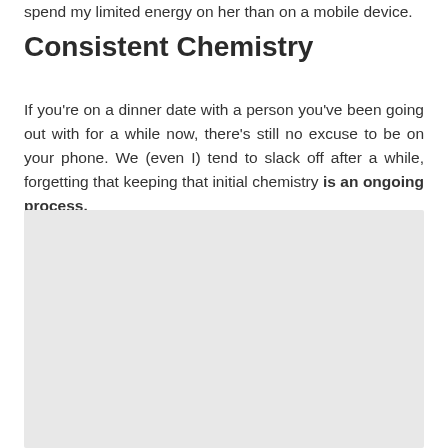spend my limited energy on her than on a mobile device.
Consistent Chemistry
If you're on a dinner date with a person you've been going out with for a while now, there's still no excuse to be on your phone. We (even I) tend to slack off after a while, forgetting that keeping that initial chemistry is an ongoing process.
[Figure (photo): Large light gray placeholder image block]